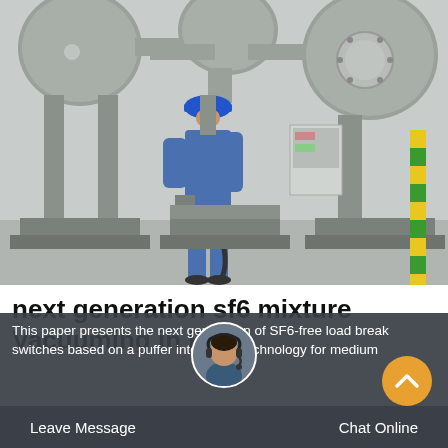[Figure (photo): Worker in blue coveralls and blue hard hat operating controls on large grey industrial gas-insulated switchgear (GIS) equipment at an outdoor electrical substation in Peru. Multiple large cylindrical grey metal vessels, pipes, and structural steel supports visible. Yellow and green striped safety strap on right side of equipment.]
next generation sf6 mixture Vacuuming in Peru
This paper presents the next generation of SF6-free load break switches based on a puffer interrupter technology for medium
[Figure (photo): Customer service avatar: woman with headset, dark hair, professional appearance, circular photo used as chat widget icon.]